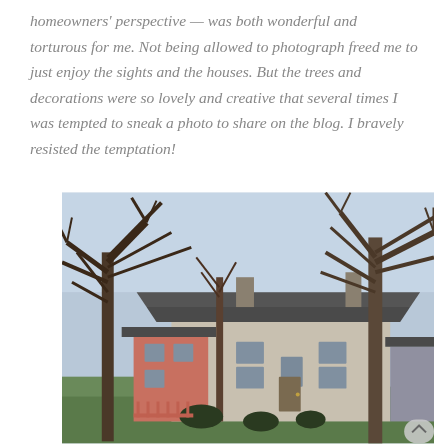homeowners' perspective — was both wonderful and torturous for me. Not being allowed to photograph freed me to just enjoy the sights and the houses. But the trees and decorations were so lovely and creative that several times I was tempted to sneak a photo to share on the blog. I bravely resisted the temptation!
[Figure (photo): Exterior photograph of a historic stone and brick farmhouse with bare winter trees in the foreground. The house has a pink/salmon brick section on the left and a light stone section on the right, with a dark roof and chimneys. A small white structure is visible at far right. Green lawn visible at lower left.]